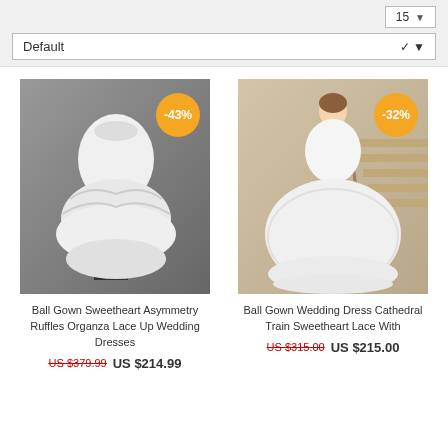[Figure (screenshot): Page controls: page number box showing 15 with dropdown arrow, and Default sort dropdown]
[Figure (photo): Ball gown wedding dress on mannequin, asymmetric ruffles organza, grey background, with -43% orange badge]
Ball Gown Sweetheart Asymmetry Ruffles Organza Lace Up Wedding Dresses
US $379.99  US $214.99
[Figure (photo): Ball gown wedding dress worn by model on staircase, cathedral train with lace, with -32% orange badge]
Ball Gown Wedding Dress Cathedral Train Sweetheart Lace With
US $315.00  US $215.00